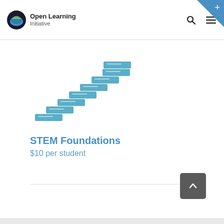Open Learning Initiative
[Figure (illustration): Staircase diagram made of teal/blue rectangular blocks arranged diagonally ascending from bottom-left to top-right, representing course modules or steps]
STEM Foundations
$10 per student